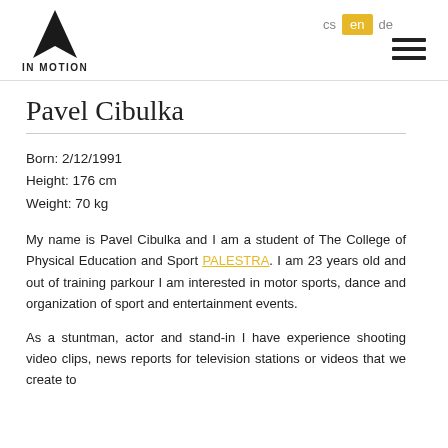IN MOTION | cs en de
Pavel Cibulka
Born: 2/12/1991
Height: 176 cm
Weight: 70 kg
My name is Pavel Cibulka and I am a student of The College of Physical Education and Sport PALESTRA. I am 23 years old and out of training parkour I am interested in motor sports, dance and organization of sport and entertainment events.
As a stuntman, actor and stand-in I have experience shooting video clips, news reports for television stations or videos that we create to